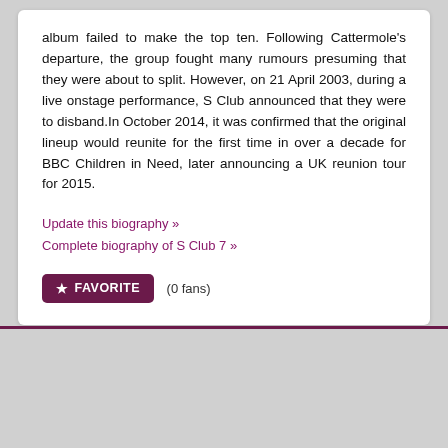album failed to make the top ten. Following Cattermole's departure, the group fought many rumours presuming that they were about to split. However, on 21 April 2003, during a live onstage performance, S Club announced that they were to disband.In October 2014, it was confirmed that the original lineup would reunite for the first time in over a decade for BBC Children in Need, later announcing a UK reunion tour for 2015.
Update this biography »
Complete biography of S Club 7 »
FAVORITE (0 fans)